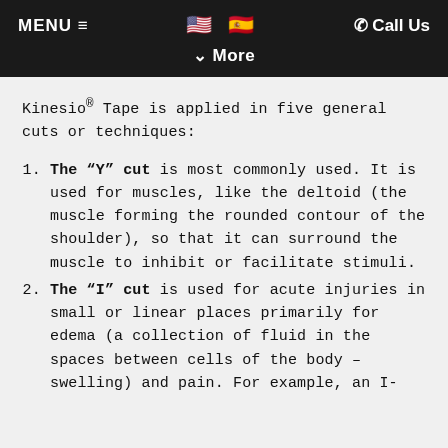MENU ≡   🇺🇸 🇪🇸   ☎ Call Us   ∨ More
Kinesio® Tape is applied in five general cuts or techniques:
The "Y" cut is most commonly used. It is used for muscles, like the deltoid (the muscle forming the rounded contour of the shoulder), so that it can surround the muscle to inhibit or facilitate stimuli.
The "I" cut is used for acute injuries in small or linear places primarily for edema (a collection of fluid in the spaces between cells of the body – swelling) and pain. For example, an I-